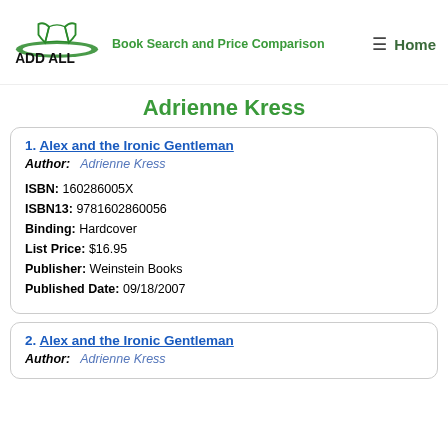[Figure (logo): ADD ALL logo with open book icon and green oval swoosh, text ADD ALL in bold]
Book Search and Price Comparison
≡  Home
Adrienne Kress
1. Alex and the Ironic Gentleman
Author:   Adrienne Kress
ISBN: 160286005X
ISBN13: 9781602860056
Binding: Hardcover
List Price: $16.95
Publisher: Weinstein Books
Published Date: 09/18/2007
2. Alex and the Ironic Gentleman
Author:   Adrienne Kress